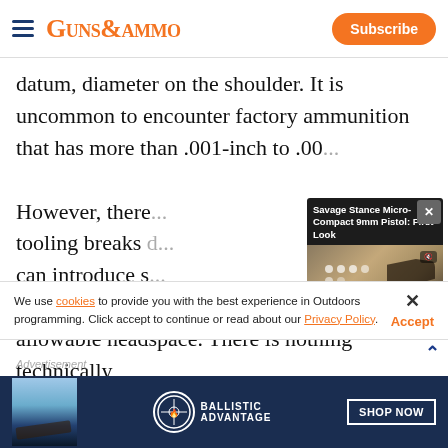GUNS&AMMO — Subscribe
datum, diameter on the shoulder. It is uncommon to encounter factory ammunition that has more than .001-inch to .00... However, there... tooling breaks d... can introduce s... dimension, but ... allowable headspace. There is nothing technically
[Figure (screenshot): Video player overlay showing 'Savage Stance Micro-Compact 9mm Pistol: First Look' with video controls showing 00:00 / 03:00]
We use cookies to provide you with the best experience in Outdoors programming. Click accept to continue or read about our Privacy Policy.
Advertisement
[Figure (photo): Ballistic Advantage advertisement banner with SHOP NOW button]